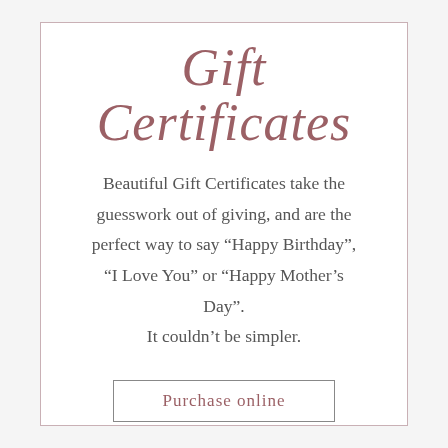Gift Certificates
Beautiful Gift Certificates take the guesswork out of giving, and are the perfect way to say “Happy Birthday”, “I Love You” or “Happy Mother’s Day”. It couldn’t be simpler.
Purchase online